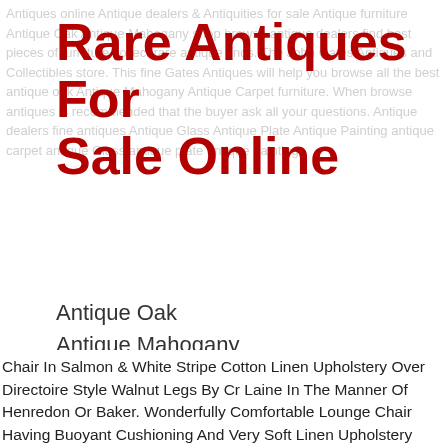Rare Antiques For Sale Online
Antique Oak
Antique Mahogany
Antique Carpet
Antique Painting
Antique Glass
Antique Plate
Chair In Salmon & White Stripe Cotton Linen Upholstery Over Directoire Style Walnut Legs By Cr Laine In The Manner Of Henredon Or Baker. Wonderfully Comfortable Lounge Chair Having Buoyant Cushioning And Very Soft Linen Upholstery